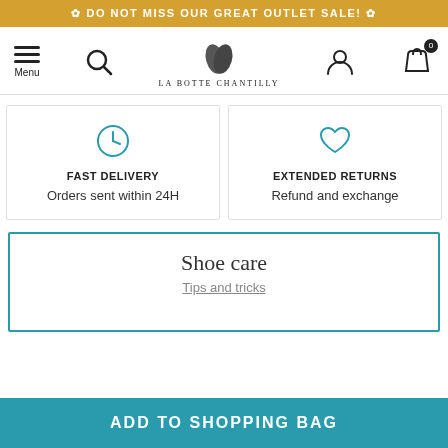✿ DO NOT MISS OUR GREAT OUTLET SALE! ✿
[Figure (screenshot): La Botte Chantilly website navigation bar with hamburger menu, search icon, logo, user icon, and shopping bag icon with 0 badge]
FAST DELIVERY
Orders sent within 24H
EXTENDED RETURNS
Refund and exchange
Shoe care
Tips and tricks
ADD TO SHOPPING BAG